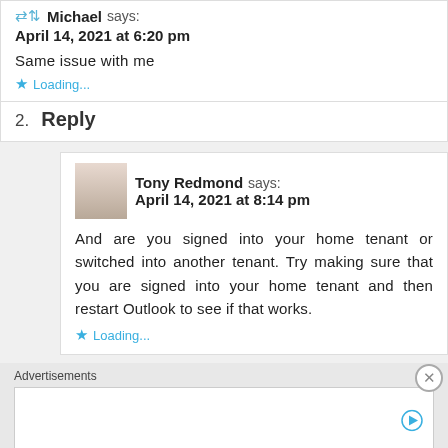⇄ Michael says: April 14, 2021 at 6:20 pm
Same issue with me
Loading...
2. Reply
Tony Redmond says: April 14, 2021 at 8:14 pm
And are you signed into your home tenant or switched into another tenant. Try making sure that you are signed into your home tenant and then restart Outlook to see if that works.
Loading...
Advertisements